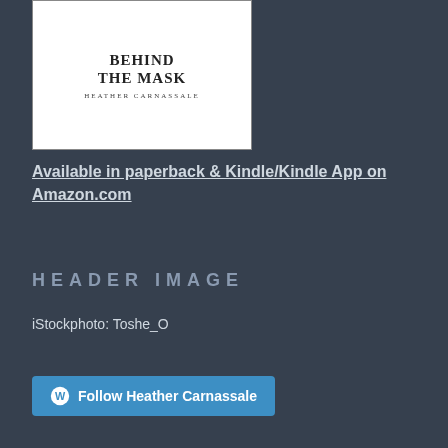[Figure (illustration): Book cover for 'Behind The Mask' by Heather Carnassale — white background with bold serif title text and small-caps author name]
Available in paperback & Kindle/Kindle App on Amazon.com
HEADER IMAGE
iStockphoto: Toshe_O
Follow Heather Carnassale